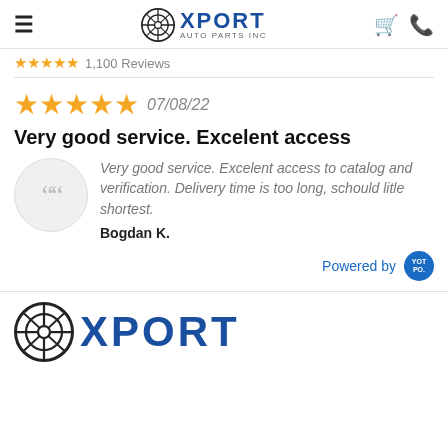Xport Auto Parts Inc
1,100 Reviews
★★★★★  07/08/22
Very good service. Excelent access
Very good service. Excelent access to catalog and verification. Delivery time is too long, schould litle shortest. Bogdan K.
Powered by YOTPO
[Figure (logo): Xport Auto Parts Inc logo at bottom of page]